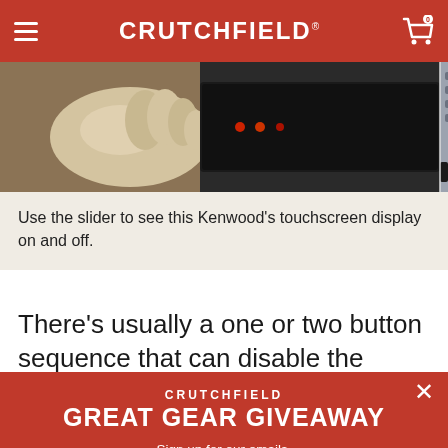CRUTCHFIELD
[Figure (photo): Hand touching a Kenwood touchscreen car stereo display, shown in a vehicle dashboard]
Use the slider to see this Kenwood's touchscreen display on and off.
There's usually a one or two button sequence that can disable the display
CRUTCHFIELD GREAT GEAR GIVEAWAY
Sign up for our emails, then enter to win a $350 gift card
Sign up for our emails